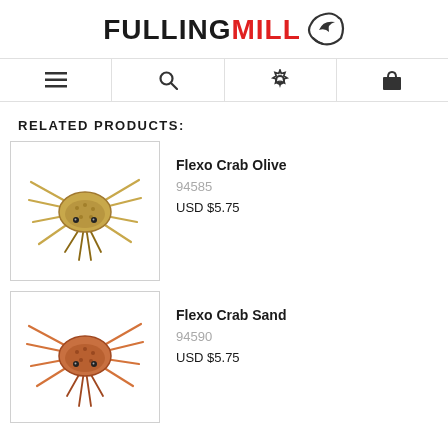FULLINGMILL
RELATED PRODUCTS:
[Figure (photo): Flexo Crab Olive fly fishing lure, top-down view, olive/tan colored crab imitation with splayed legs]
Flexo Crab Olive
94585
USD $5.75
[Figure (photo): Flexo Crab Sand fly fishing lure, top-down view, sand/orange colored crab imitation with splayed legs]
Flexo Crab Sand
94590
USD $5.75